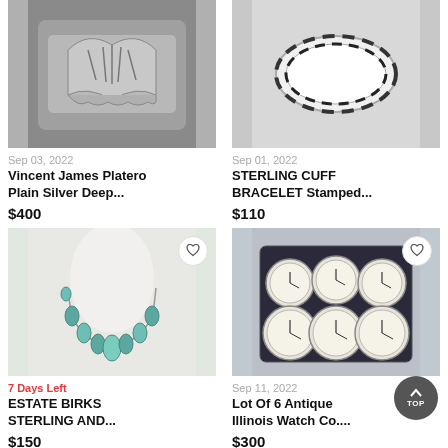[Figure (photo): Silver cuff bracelet with stamped eagle/feather design, top portion visible]
Sep 03, 2022
Vincent James Platero Plain Silver Deep...
$400
[Figure (photo): White/black striped sterling cuff bracelet on white background]
Sep 01, 2022
STERLING CUFF BRACELET Stamped...
$110
[Figure (photo): Estate Birks sterling silver necklace with turquoise teardrop beads on white neck form]
7 Days Left
ESTATE BIRKS STERLING AND...
$150
[Figure (photo): Lot of 6 antique Illinois Watch Co pocket watches in a blue velvet display case]
Sep 11, 2022
Lot Of 6 Antique Illinois Watch Co....
$300